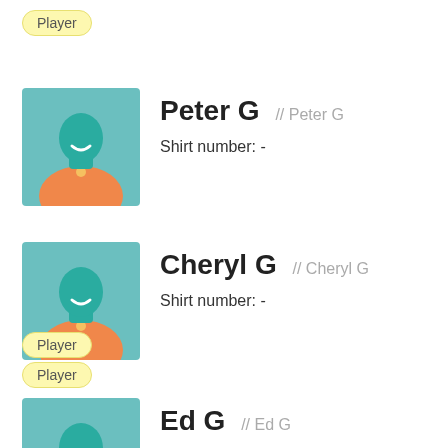Player
[Figure (illustration): Player avatar icon with teal head and orange jersey]
Peter G // Peter G
Shirt number: -
Player
[Figure (illustration): Player avatar icon with teal head and orange jersey]
Cheryl G // Cheryl G
Shirt number: -
Player
[Figure (illustration): Player avatar icon with teal head and orange jersey]
Ed G // Ed G
Shirt number: -